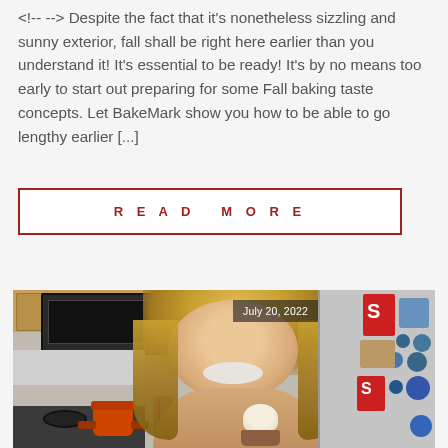<!-- --> Despite the fact that it's nonetheless sizzling and sunny exterior, fall shall be right here earlier than you understand it! It's essential to be ready! It's by no means too early to start out preparing for some Fall baking taste concepts. Let BakeMark show you how to be able to go lengthy earlier [...]
READ MORE
[Figure (photo): A smiling young woman with long blonde hair in a kitchen, holding what appears to be a cupcake or cream puff. She is in front of a microwave, wooden cabinets, and a refrigerator with stickers/magnets. An orange pot is on the stove. A date stamp reads July 20, 2022.]